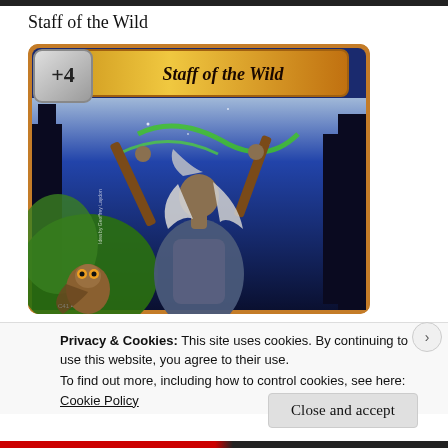Staff of the Wild
[Figure (illustration): A trading card titled 'Staff of the Wild' showing +4, depicting a woman with grey hair raising a staff overhead, with an owl in the lower left, set against a night sky and green foliage background. Card art credit: Idea by Geoffrey Laydon; Illus. Christina Wald © 2005 AEG]
Privacy & Cookies: This site uses cookies. By continuing to use this website, you agree to their use.
To find out more, including how to control cookies, see here:
Cookie Policy
Close and accept